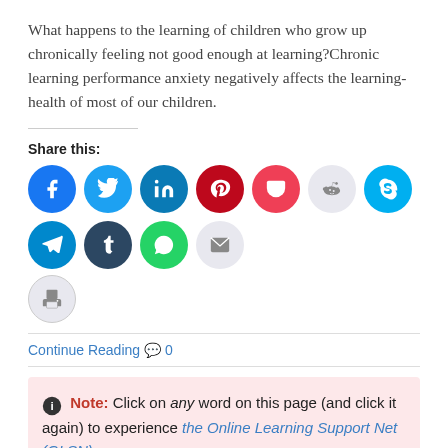What happens to the learning of children who grow up chronically feeling not good enough at learning?Chronic learning performance anxiety negatively affects the learning-health of most of our children.
Share this:
[Figure (infographic): Row of social media share icon buttons: Facebook, Twitter, LinkedIn, Pinterest, Pocket, Reddit, Skype, Telegram, Tumblr, WhatsApp, Email, Print]
Continue Reading 0
Note: Click on any word on this page (and click it again) to experience the Online Learning Support Net (OLSN).
Do you see what I see? The Child, the